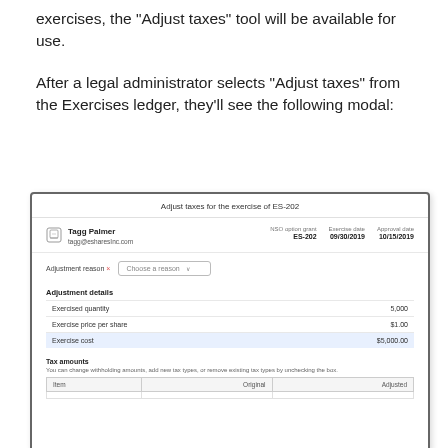exercises, the "Adjust taxes" tool will be available for use.
After a legal administrator selects "Adjust taxes" from the Exercises ledger, they'll see the following modal:
[Figure (screenshot): Modal dialog titled 'Adjust taxes for the exercise of ES-202' showing user Tagg Palmer (tagg@esharesInc.com) with NSO option grant ES-202, Exercise date 09/30/2019, Approval date 10/15/2019. Contains an Adjustment reason dropdown ('Choose a reason'), Adjustment details table with Exercised quantity (5,000), Exercise price per share ($1.00), Exercise cost ($5,000.00, highlighted in blue), Tax amounts section with subtitle and a table showing Item, Original, and Adjusted columns.]